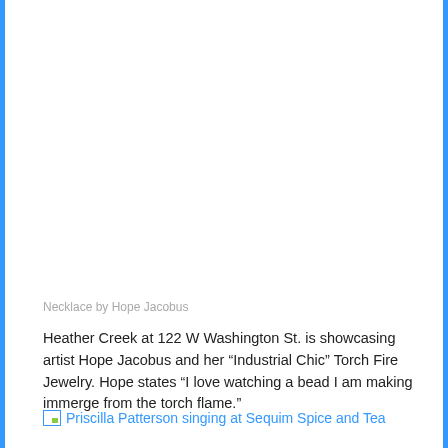Necklace by Hope Jacobus
Heather Creek at 122 W Washington St. is showcasing artist Hope Jacobus and her “Industrial Chic” Torch Fire Jewelry. Hope states “I love watching a bead I am making immerge from the torch flame.”
[Figure (photo): Broken image placeholder linking to Priscilla Patterson singing at Sequim Spice and Tea]